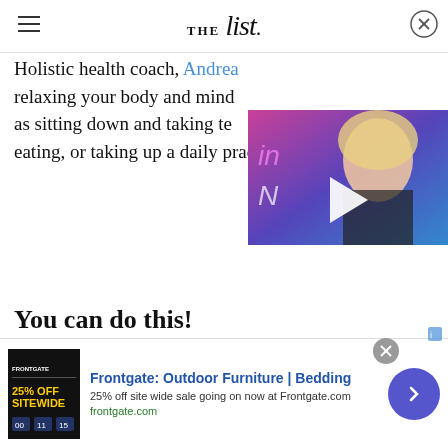THE List
Holistic health coach, Andrea [partially obscured] relaxing your body and mind [partially obscured] as sitting down and taking te[partially obscured] eating, or taking up a daily practice of meditation.
[Figure (photo): Video thumbnail showing a blonde woman, with a play button overlay, colorful background with neon text]
You can do this!
[Figure (photo): Close-up photo of a person's bare abdomen being pinched by hands with red nail polish on a white background]
[Figure (other): Advertisement: Frontgate: Outdoor Furniture | Bedding. 25% off site wide sale going on now at Frontgate.com. frontgate.com]